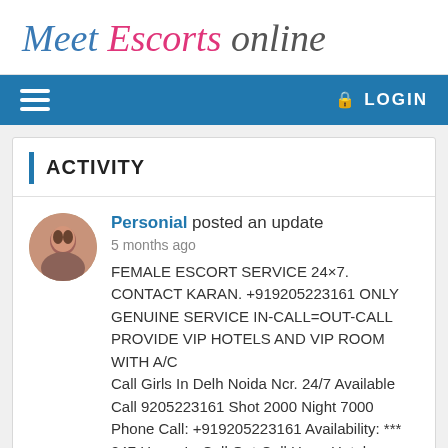Meet Escorts online
LOGIN
ACTIVITY
Personial posted an update
5 months ago
FEMALE ESCORT SERVICE 24×7. CONTACT KARAN. +919205223161 ONLY GENUINE SERVICE IN-CALL=OUT-CALL PROVIDE VIP HOTELS AND VIP ROOM WITH A/C
Call Girls In Delh Noida Ncr. 24/7 Available Call 9205223161 Shot 2000 Night 7000
Phone Call: +919205223161 Availability: *** 247 Hours In-Call Out-Call HomeHotel Deleviry Services